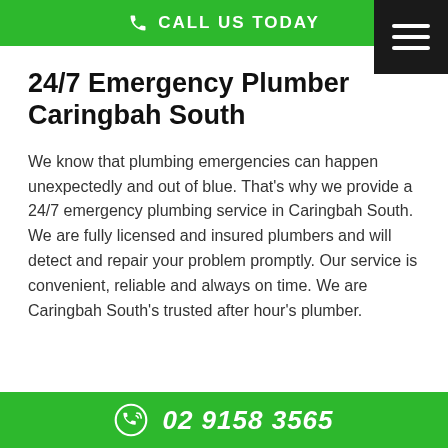CALL US TODAY
24/7 Emergency Plumber Caringbah South
We know that plumbing emergencies can happen unexpectedly and out of blue. That's why we provide a 24/7 emergency plumbing service in Caringbah South. We are fully licensed and insured plumbers and will detect and repair your problem promptly. Our service is convenient, reliable and always on time. We are Caringbah South's trusted after hour's plumber.
02 9158 3565